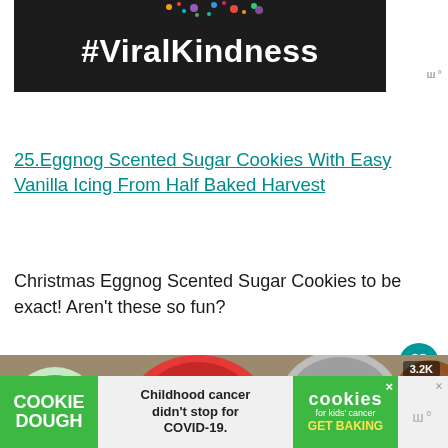[Figure (photo): Dark background image with text '#ViralKindness' in large white bold font, with colorful confetti/sprinkles at the top]
25.Eggnog Scented Sugar Cookies With Easy Vanilla Icing From Half Baked Harvest
Christmas Eggnog Scented Sugar Cookies to be exact! Aren't these so fun?
[Figure (photo): Close-up photo of decorated Christmas sugar cookies in red, green, and grey/silver colors on a wooden surface]
[Figure (screenshot): Advertisement banner for Cookie Dough brand with text 'Childhood cancer didn't stop for COVID-19' and 'cookies for kids cancer GET BAKING']